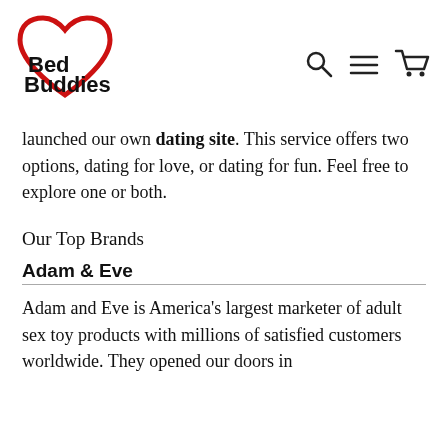[Figure (logo): Bed Buddies logo: red heart outline on left, bold black text 'Bed Buddies' to the right]
[Figure (other): Navigation icons: search (magnifying glass), menu (three horizontal lines), cart (shopping cart)]
launched our own dating site. This service offers two options, dating for love, or dating for fun. Feel free to explore one or both.
Our Top Brands
Adam & Eve
Adam and Eve is America's largest marketer of adult sex toy products with millions of satisfied customers worldwide. They opened our doors in